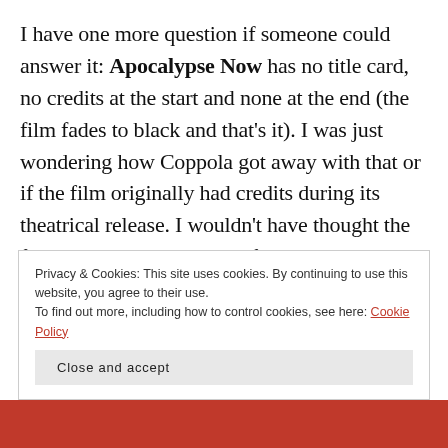I have one more question if someone could answer it: Apocalypse Now has no title card, no credits at the start and none at the end (the film fades to black and that’s it). I was just wondering how Coppola got away with that or if the film originally had credits during its theatrical release. I wouldn’t have thought the film unions would allow a film to be released without the cast or crew being credited anywhere (didn’t George
Privacy & Cookies: This site uses cookies. By continuing to use this website, you agree to their use.
To find out more, including how to control cookies, see here: Cookie Policy
Close and accept